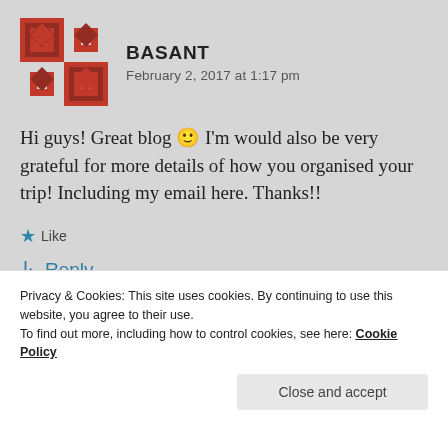BASANT
February 2, 2017 at 1:17 pm
Hi guys! Great blog 🙂 I'm would also be very grateful for more details of how you organised your trip! Including my email here. Thanks!!
★ Like
↳ Reply
Privacy & Cookies: This site uses cookies. By continuing to use this website, you agree to their use.
To find out more, including how to control cookies, see here: Cookie Policy
Close and accept